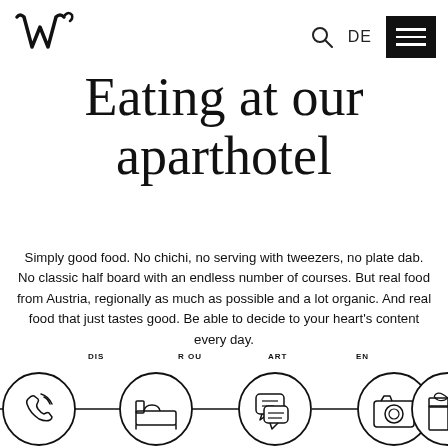[Figure (logo): Stylized W logo with apostrophe, hand-drawn style]
DE (language selector) with search and menu icons
Eating at our aparthotel
Simply good food. No chichi, no serving with tweezers, no plate dab. No classic half board with an endless number of courses. But real food from Austria, regionally as much as possible and a lot organic. And real food that just tastes good. Be able to decide to your heart's content every day.
[Figure (infographic): Row of 5 circular icons connected by lines: phone/contact, bed/room, chat/reviews, camera/gallery, gift/packages. Partial text labels above: DIS..., R OU..., ART..., EN]